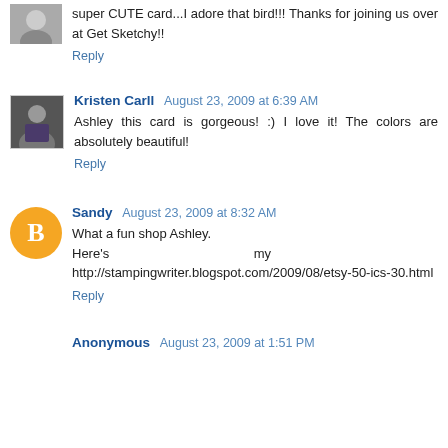super CUTE card...I adore that bird!!! Thanks for joining us over at Get Sketchy!!
Reply
Kristen Carll  August 23, 2009 at 6:39 AM
Ashley this card is gorgeous! :) I love it! The colors are absolutely beautiful!
Reply
Sandy  August 23, 2009 at 8:32 AM
What a fun shop Ashley.
Here's my card: http://stampingwriter.blogspot.com/2009/08/etsy-50-ics-30.html
Reply
Anonymous  August 23, 2009 at 1:51 PM